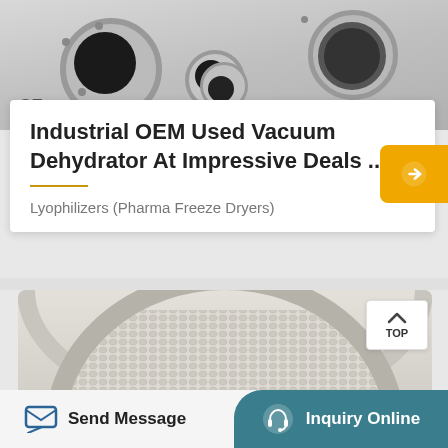[Figure (photo): Top-down view of industrial vacuum dehydrator machine top panel with ports, flanges, and CE/ISO certification marks]
Industrial OEM Used Vacuum Dehydrator At Impressive Deals ...
Lyophilizers (Pharma Freeze Dryers)
[Figure (photo): Close-up photo of circular ceramic fiber coil/heating element on a light gray metal base plate]
Send Message
Inquiry Online